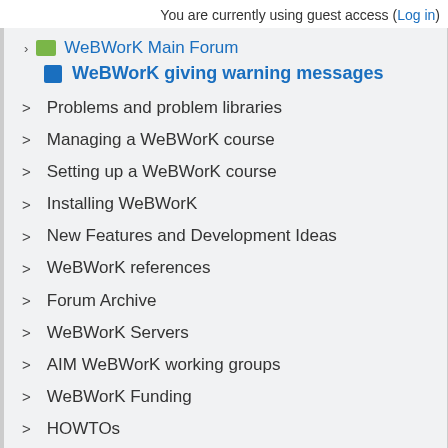You are currently using guest access (Log in)
WeBWorK Main Forum
WeBWorK giving warning messages
Problems and problem libraries
Managing a WeBWorK course
Setting up a WeBWorK course
Installing WeBWorK
New Features and Development Ideas
WeBWorK references
Forum Archive
WeBWorK Servers
AIM WeBWorK working groups
WeBWorK Funding
HOWTOs
Authoring WeBWorK problems
Miscellaneous Topics
WeBWorK Consultants